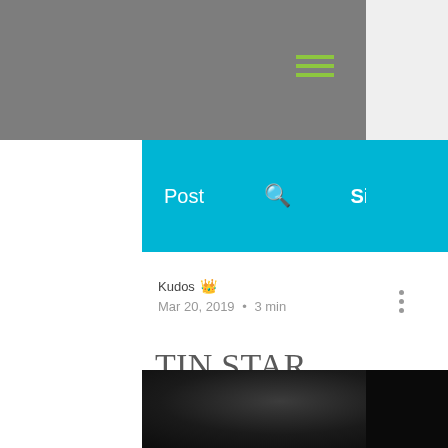Post   🔍   Sign Up
Kudos  ♛
Mar 20, 2019  •  3 min
TIN STAR COMMISSIONED FOR A THIRD SERIES
[Figure (photo): Dark blurred photograph, partially visible at bottom of page]